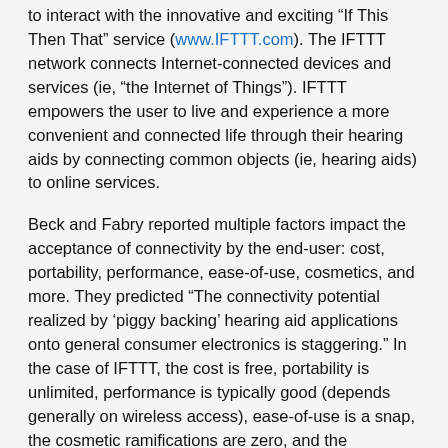to interact with the innovative and exciting “If This Then That” service (www.IFTTT.com). The IFTTT network connects Internet-connected devices and services (ie, “the Internet of Things”). IFTTT empowers the user to live and experience a more convenient and connected life through their hearing aids by connecting common objects (ie, hearing aids) to online services.
Beck and Fabry reported multiple factors impact the acceptance of connectivity by the end-user: cost, portability, performance, ease-of-use, cosmetics, and more. They predicted “The connectivity potential realized by ‘piggy backing’ hearing aid applications onto general consumer electronics is staggering.” In the case of IFTTT, the cost is free, portability is unlimited, performance is typically good (depends generally on wireless access), ease-of-use is a snap, the cosmetic ramifications are zero, and the excitement and benefits are unbridled.
Newman reports people using IFTTT have already created more than 40 million IFTTT connections (also known as “Applets” or “Recipes”) through the IFTTT apps and website. Further, he reports the Internet of Things (through IFTTT alone) is already triggered more than a billion times per month. According to Newman, IFTTT Founder and CEO Linden Tibbets stated “We want to become a PayPal for access.”4 That is, IFTTT desires to